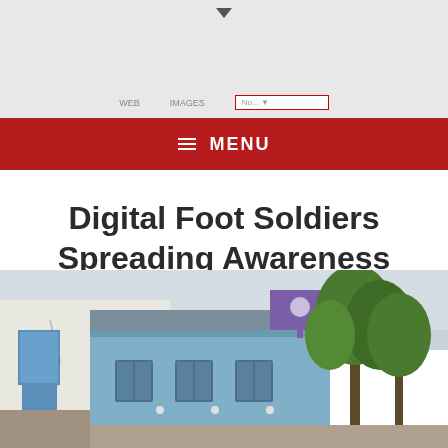MENU
Digital Foot Soldiers Spreading Awareness About Internet Safety
[Figure (photo): Street scene showing blue and white buildings with a billboard on the rooftop and trees in the background, overcast sky]